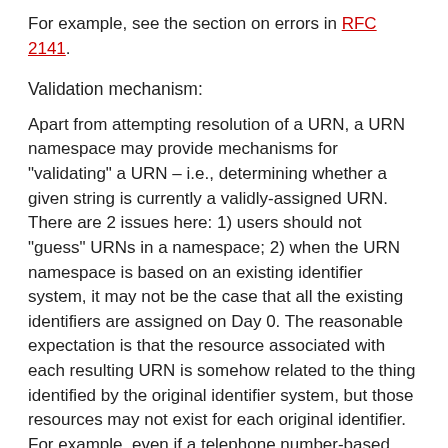For example, see the section on errors in [RFC 2141].
Validation mechanism:
Apart from attempting resolution of a URN, a URN namespace may provide mechanisms for "validating" a URN – i.e., determining whether a given string is currently a validly-assigned URN. There are 2 issues here: 1) users should not "guess" URNs in a namespace; 2) when the URN namespace is based on an existing identifier system, it may not be the case that all the existing identifiers are assigned on Day 0. The reasonable expectation is that the resource associated with each resulting URN is somehow related to the thing identified by the original identifier system, but those resources may not exist for each original identifier. For example, even if a telephone number-based URN namespace was created, it is not clear that all telephone numbers would immediately become "valid" URNs, that could be resolved using whatever mechanisms are described as part of the namespace registration.
Validation mechanisms might be: